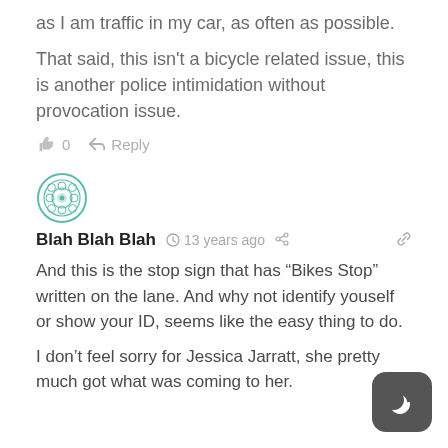as I am traffic in my car, as often as possible.
That said, this isn't a bicycle related issue, this is another police intimidation without provocation issue.
0  Reply
[Figure (illustration): Circular teal/green decorative avatar icon with geometric pattern]
Blah Blah Blah  13 years ago
And this is the stop sign that has “Bikes Stop” written on the lane. And why not identify youself or show your ID, seems like the easy thing to do.
I don’t feel sorry for Jessica Jarratt, she pretty much got what was coming to her.
[Figure (illustration): Dark gray rounded square button with crescent moon icon (night mode toggle)]